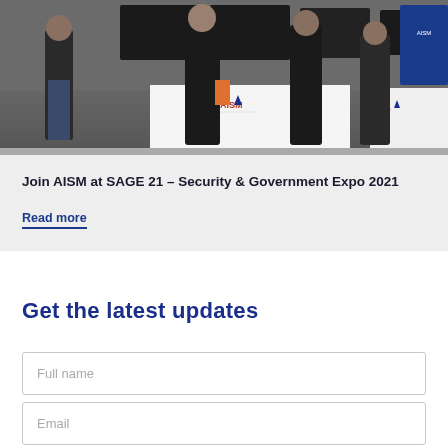[Figure (photo): Expo booth photo showing people at AISM trade show displays with branded white tablecloths and monitors in background]
Join AISM at SAGE 21 – Security & Government Expo 2021
Read more
Get the latest updates
Full name
Email
Sign me up